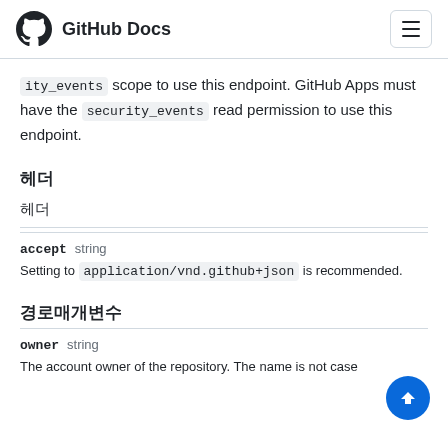GitHub Docs
ity_events scope to use this endpoint. GitHub Apps must have the security_events read permission to use this endpoint.
헤더
헤더
accept  string
Setting to application/vnd.github+json is recommended.
경로매개변수
owner  string
The account owner of the repository. The name is not case